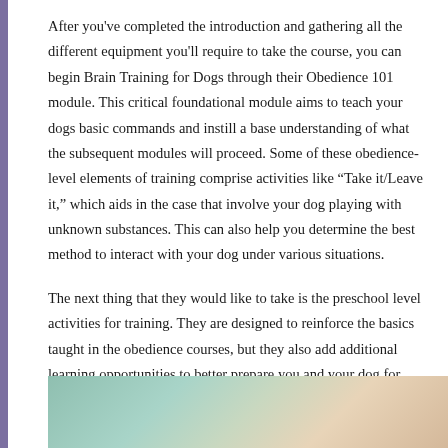After you've completed the introduction and gathering all the different equipment you'll require to take the course, you can begin Brain Training for Dogs through their Obedience 101 module. This critical foundational module aims to teach your dogs basic commands and instill a base understanding of what the subsequent modules will proceed. Some of these obedience-level elements of training comprise activities like “Take it/Leave it,” which aids in the case that involve your dog playing with unknown substances. This can also help you determine the best method to interact with your dog under various situations.
The next thing that they would like to take is the preschool level activities for training. They are designed to reinforce the basics taught in the obedience courses, but they also add additional learning opportunities to better prepare you and your dog for more advanced routines.
[Figure (photo): Partial image visible at the bottom of the page showing what appears to be a person and possibly a dog, cropped at the bottom edge]